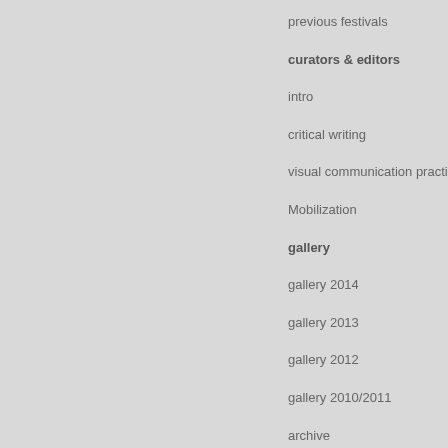previous festivals
curators & editors
intro
critical writing
visual communication practi…
Mobilization
gallery
gallery 2014
gallery 2013
gallery 2012
gallery 2010/2011
archive
downloads
EVENT